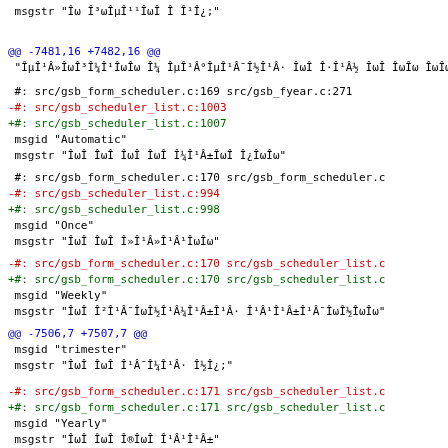msgstr "ÎÎ³ÎÎ¼Î¹ÎÎ Î Î¹Î¿"
@@ -7481,16 +7482,16 @@
 "ÎµÎ¹Â»ÎÎ³Î¼ÎÎÎ Î¼ ÎµÎ¹Â°ÎµÎ¹Â¯Î½Î¹Â· ÎÎ Î·Î¹Â½ ÎÎ ÎÎ Î¿ÎµÎ¹Â¼Î¹Â¹ÎÂ¯ÎÎÎ¿Î"
#: src/gsb_form_scheduler.c:169 src/gsb_fyear.c:271
-#: src/gsb_scheduler_list.c:1003
+#: src/gsb_scheduler_list.c:1007
 msgid "Automatic"
 msgstr "ÎÎ ÎÎ ÎÎ ÎÎ Î¼ÎÂ±ÎÎ Î¿ÎÎ"
#: src/gsb_form_scheduler.c:170 src/gsb_form_scheduler.c
-#: src/gsb_scheduler_list.c:994
+#: src/gsb_scheduler_list.c:998
 msgid "Once"
 msgstr "ÎÎ ÎÎ Î»Î¹Â¹ÎÎ"
-#: src/gsb_form_scheduler.c:170 src/gsb_scheduler_list.c
+#: src/gsb_form_scheduler.c:170 src/gsb_scheduler_list.c
 msgid "Weekly"
 msgstr "ÎÎ Î²Î¹Â¯Î¿Î½Î¹Â¼ÎÂ±ÎÂ· Î¹Â¹ÎÂ±ÎÂ¯Î¿Î½ÎÎ"
@@ -7506,7 +7507,7 @@
 msgid "trimester"
 msgstr "ÎÎ ÎÎ Î¹Â¯Î¼Î¹Â· Î½Î¿"
-#: src/gsb_form_scheduler.c:171 src/gsb_scheduler_list.c
+#: src/gsb_form_scheduler.c:171 src/gsb_scheduler_list.c
 msgid "Yearly"
 msgstr "ÎÎ ÎÎ Î®ÎÎ Î¹Â¹ÎÂ±"